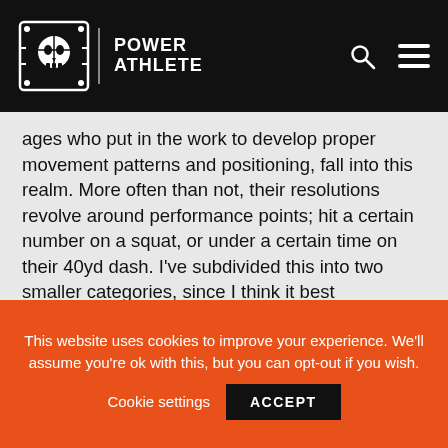POWER ATHLETE
ages who put in the work to develop proper movement patterns and positioning, fall into this realm. More often than not, their resolutions revolve around performance points; hit a certain number on a squat, or under a certain time on their 40yd dash. I've subdivided this into two smaller categories, since I think it best encapsulates the folks you'll see at this level. Despite their proficiency, both still need your coaching…how you go about it will just have to be a little different.
This website uses cookies to improve your experience. We'll assume you're ok with this, but you can opt-out if you wish.
Cookie settings  ACCEPT